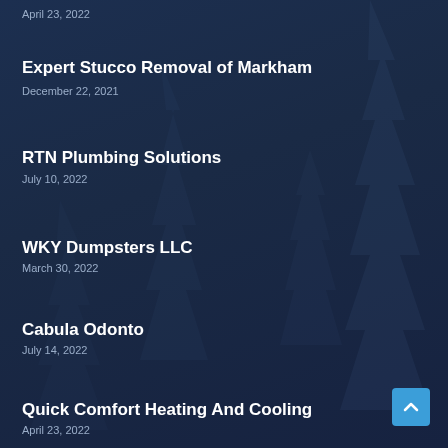April 23, 2022
Expert Stucco Removal of Markham
December 22, 2021
RTN Plumbing Solutions
July 10, 2022
WKY Dumpsters LLC
March 30, 2022
Cabula Odonto
July 14, 2022
Quick Comfort Heating And Cooling
April 23, 2022